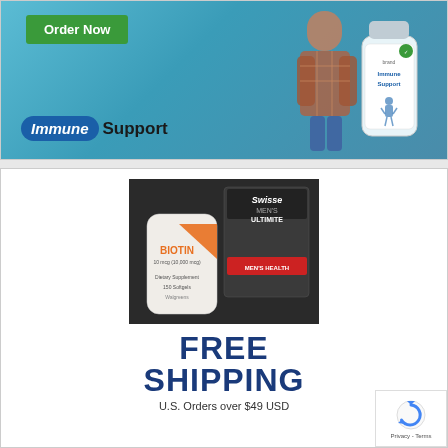[Figure (photo): Advertisement for Immune Support supplement product. Shows a green 'Order Now' button, a supplement bottle labeled 'Immune Support', a person outdoors near water, and an 'Immune Support' logo badge at the bottom.]
[Figure (photo): Advertisement for supplements showing a Biotin bottle and Swisse Men's Ultimate product on a dark background, with 'FREE SHIPPING' text and 'U.S. Orders over $49 USD' below.]
FREE
SHIPPING
U.S. Orders over $49 USD